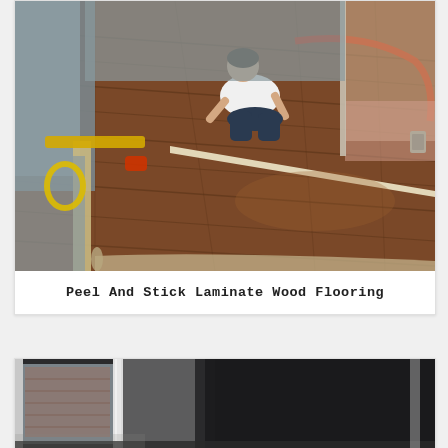[Figure (photo): A person sitting on a partially installed dark wood laminate floor, surrounded by tools including a yellow extension cord, red air hose, drill, and spirit level. The room has blue-grey walls and an open doorway in the background.]
Peel And Stick Laminate Wood Flooring
[Figure (photo): A room with dark charcoal/black painted walls, a white door frame on the left, and a window with natural light coming in from the left side.]